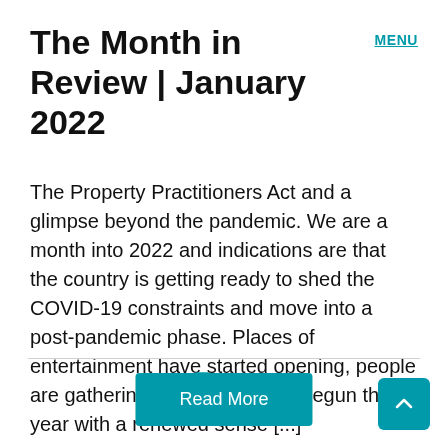The Month in Review | January 2022
The Property Practitioners Act and a glimpse beyond the pandemic. We are a month into 2022 and indications are that the country is getting ready to shed the COVID-19 constraints and move into a post-pandemic phase. Places of entertainment have started opening, people are gathering, and many have begun the year with a renewed sense [...]
News
Read More